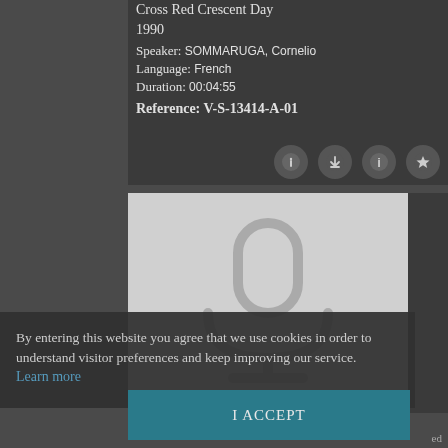Cross Red Crescent Day
1990
Speaker: SOMMARUGA, Cornelio
Language: French
Duration: 00:04:55
Reference: V-S-13414-A-01
[Figure (illustration): Microphone icon placeholder on light grey background]
By entering this website you agree that we use cookies in order to understand visitor preferences and keep improving our service. Learn more
I ACCEPT